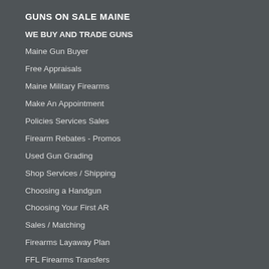GUNS ON SALE MAINE
WE BUY AND TRADE GUNS
Maine Gun Buyer
Free Appraisals
Maine Military Firearms
Make An Appointment
Policies Services Sales
Firearm Rebates - Promos
Used Gun Grading
Shop Services / Shipping
Choosing a Handgun
Choosing Your First AR
Sales / Matching
Firearms Layaway Plan
FFL Firearms Transfers
Newton Rifle G.P. Putnam